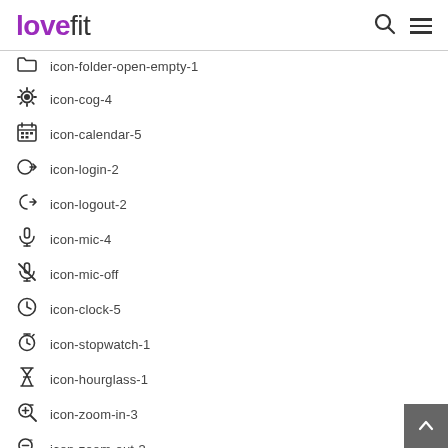lovefit [search icon] [menu icon]
icon-folder-open-empty-1
icon-cog-4
icon-calendar-5
icon-login-2
icon-logout-2
icon-mic-4
icon-mic-off
icon-clock-5
icon-stopwatch-1
icon-hourglass-1
icon-zoom-in-3
icon-zoom-out-3
icon-down-open-2